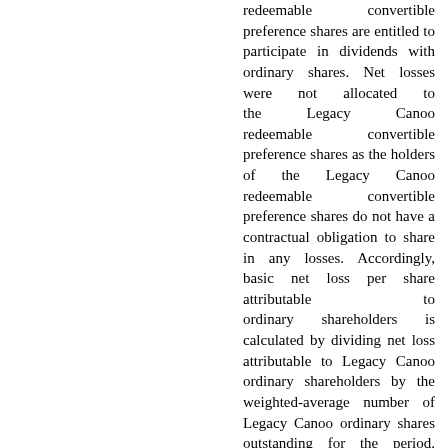redeemable convertible preference shares are entitled to participate in dividends with ordinary shares. Net losses were not allocated to the Legacy Canoo redeemable convertible preference shares as the holders of the Legacy Canoo redeemable convertible preference shares do not have a contractual obligation to share in any losses. Accordingly, basic net loss per share attributable to ordinary shareholders is calculated by dividing net loss attributable to Legacy Canoo ordinary shareholders by the weighted-average number of Legacy Canoo ordinary shares outstanding for the period. During the year ended December 31, 2020, Legacy Canoo increased the net loss by $42.0 million for dividends accumulated for the period on the Legacy Canoo